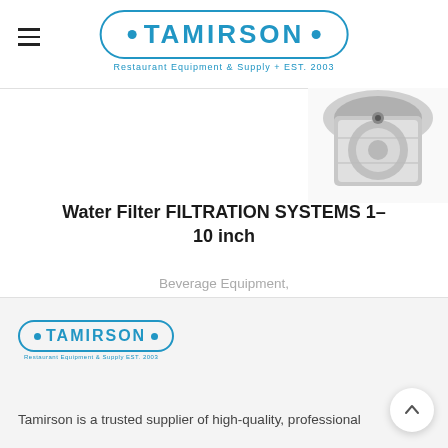[Figure (logo): Tamirson logo — pill-shaped border with dots, text TAMIRSON, subtitle Restaurant Equipment & Supply + EST. 2003]
[Figure (photo): Partial product photo of a water filter unit, top right corner]
Water Filter FILTRATION SYSTEMS 1-10 inch
Beverage Equipment, Refrigeration Equipment, Restaurant Equipment
[Figure (logo): Tamirson footer logo — smaller pill-shaped border with dots, text TAMIRSON, subtitle Restaurant Equipment & Supply EST. 2003]
Tamirson is a trusted supplier of high-quality, professional